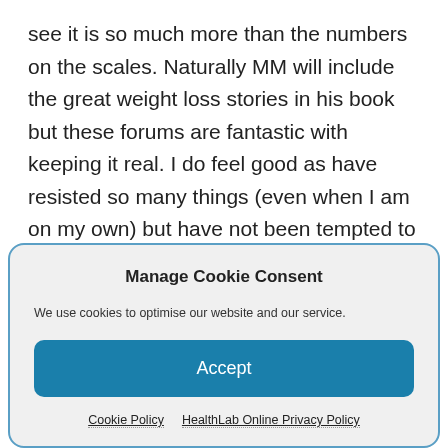see it is so much more than the numbers on the scales. Naturally MM will include the great weight loss stories in his book but these forums are fantastic with keeping it real. I do feel good as have resisted so many things (even when I am on my own) but have not been tempted to take a bite out of my son's burgers, lol. I enjoy the fact that I can have tea and coffee without sugar now – what
Manage Cookie Consent
We use cookies to optimise our website and our service.
Accept
Cookie Policy   HealthLab Online Privacy Policy